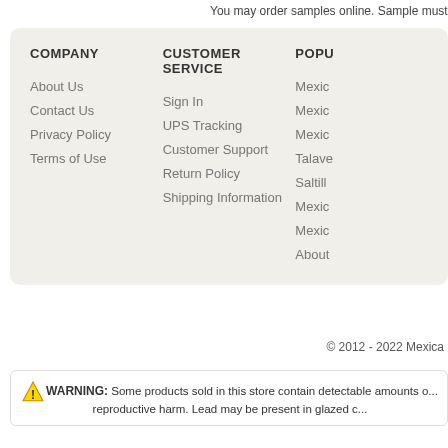You may order samples online. Sample must ... Please keep in mind sample tiles may vary in ...
COMPANY
About Us
Contact Us
Privacy Policy
Terms of Use
CUSTOMER SERVICE
Sign In
UPS Tracking
Customer Support
Return Policy
Shipping Information
POPU...
Mexic...
Mexic...
Mexic...
Talave...
Saltill...
Mexic...
Mexic...
About...
© 2012 - 2022 Mexica...
⚠ WARNING: Some products sold in this store contain detectable amounts o... reproductive harm. Lead may be present in glazed c...